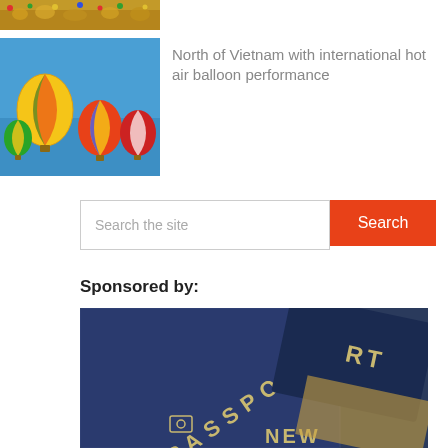[Figure (photo): Crowd festival photo at the top]
[Figure (photo): Hot air balloons in blue sky, multiple colorful balloons floating]
North of Vietnam with international hot air balloon performance
[Figure (other): Search bar with text input saying 'Search the site' and orange Search button]
Sponsored by:
[Figure (photo): Close-up of blue passport cover with text PASSPORT and NEW visible]